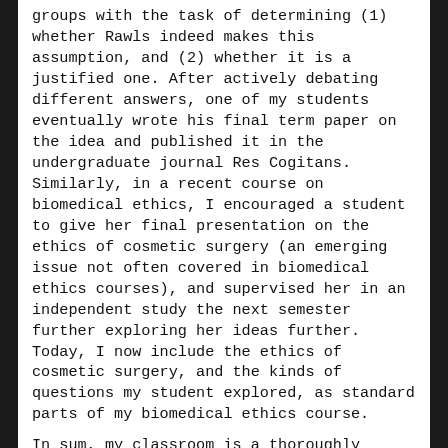groups with the task of determining (1) whether Rawls indeed makes this assumption, and (2) whether it is a justified one. After actively debating different answers, one of my students eventually wrote his final term paper on the idea and published it in the undergraduate journal Res Cogitans. Similarly, in a recent course on biomedical ethics, I encouraged a student to give her final presentation on the ethics of cosmetic surgery (an emerging issue not often covered in biomedical ethics courses), and supervised her in an independent study the next semester further exploring her ideas further. Today, I now include the ethics of cosmetic surgery, and the kinds of questions my student explored, as standard parts of my biomedical ethics course.
In sum, my classroom is a thoroughly